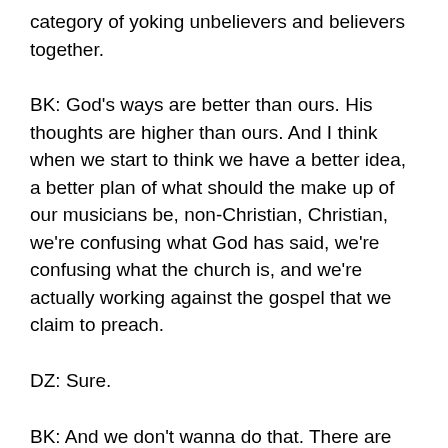category of yoking unbelievers and believers together.
BK: God's ways are better than ours. His thoughts are higher than ours. And I think when we start to think we have a better idea, a better plan of what should the make up of our musicians be, non-Christian, Christian, we're confusing what God has said, we're confusing what the church is, and we're actually working against the gospel that we claim to preach.
DZ: Sure.
BK: And we don't wanna do that. There are better ways God has given to us, and I pray that this is helping… If someone's listening that do have unbelievers on their team, that is helping them think